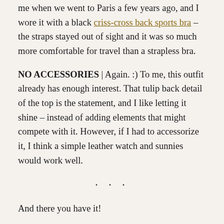me when we went to Paris a few years ago, and I wore it with a black criss-cross back sports bra – the straps stayed out of sight and it was so much more comfortable for travel than a strapless bra.
NO ACCESSORIES | Again. :) To me, this outfit already has enough interest. That tulip back detail of the top is the statement, and I like letting it shine – instead of adding elements that might compete with it. However, if I had to accessorize it, I think a simple leather watch and sunnies would work well.
• • •
And there you have it!
Make sure to hop on over to Lee's blog to see her outfit today, too!